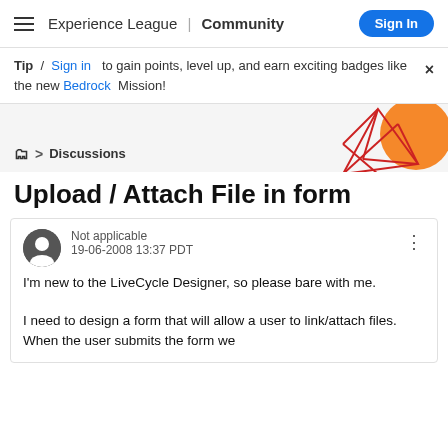Experience League | Community  Sign In
Tip / Sign in to gain points, level up, and earn exciting badges like the new Bedrock Mission!
[Figure (illustration): Decorative geometric graphic with red triangle lines and orange circle, partially visible at top-right]
Discussions
Upload / Attach File in form
Not applicable
19-06-2008 13:37 PDT
I'm new to the LiveCycle Designer, so please bare with me.
I need to design a form that will allow a user to link/attach files. When the user submits the form we